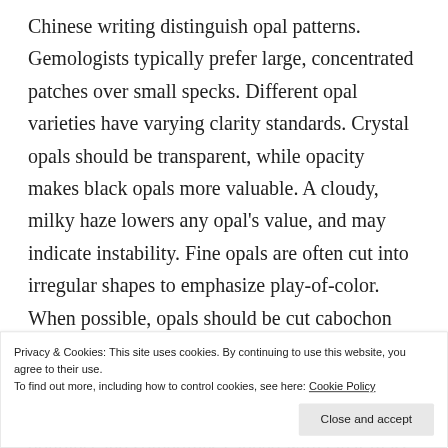Chinese writing distinguish opal patterns. Gemologists typically prefer large, concentrated patches over small specks. Different opal varieties have varying clarity standards. Crystal opals should be transparent, while opacity makes black opals more valuable. A cloudy, milky haze lowers any opal's value, and may indicate instability. Fine opals are often cut into irregular shapes to emphasize play-of-color. When possible, opals should be cut cabochon with rounded domes. But most opal comes in thin layers, which are commonly mounted on another dark stone like onyx or obsidian (as a doublet) and sometimes capped with clear glass or plastic (as a triplet) to make this fragile gem more
Privacy & Cookies: This site uses cookies. By continuing to use this website, you agree to their use.
To find out more, including how to control cookies, see here: Cookie Policy
Close and accept